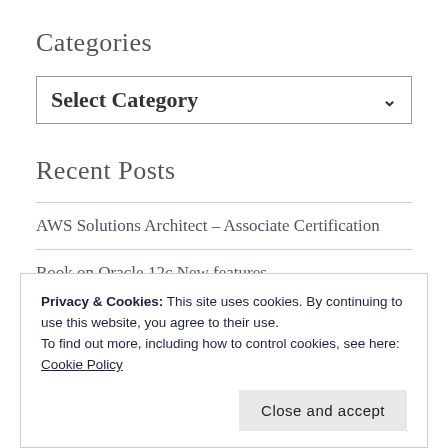Categories
Select Category
Recent Posts
AWS Solutions Architect – Associate Certification
Book on Oracle 12c New features
Adaptive Cursor Sharing
Oracle 12c Learning Series: Automatic Table Recovery Using
Privacy & Cookies: This site uses cookies. By continuing to use this website, you agree to their use.
To find out more, including how to control cookies, see here:
Cookie Policy
Close and accept